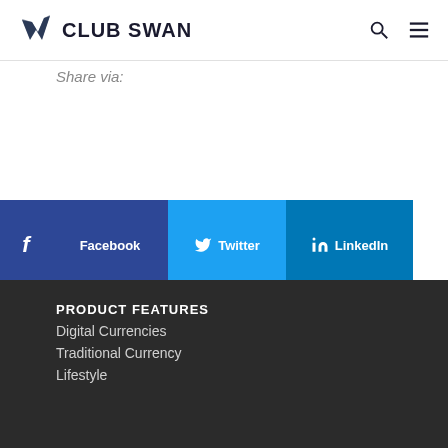[Figure (logo): Club Swan logo with stylized wing icon and text CLUB SWAN]
Share via:
[Figure (infographic): Social share buttons: Facebook, Twitter, LinkedIn, and More; left sidebar with social icons]
PRODUCT FEATURES
Digital Currencies
Traditional Currency
Lifestyle